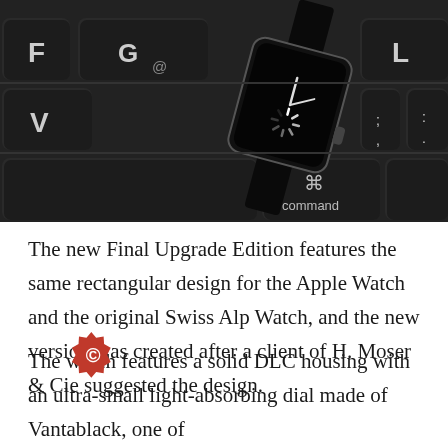[Figure (photo): A smartwatch with a square black face showing clock hands and a loading spinner icon, resting on a black MacBook keyboard. Keys visible include F, G, V, L, and command key with ⌘ symbol. The image is in black and white/dark tones.]
The new Final Upgrade Edition features the same rectangular design for the Apple Watch and the original Swiss Alp Watch, and the new version was created after a client of H. Moser & Cie suggested the design.
The watch features a solid DLC housing with an ultra-small light-absorbing dial made of Vantablack, one of